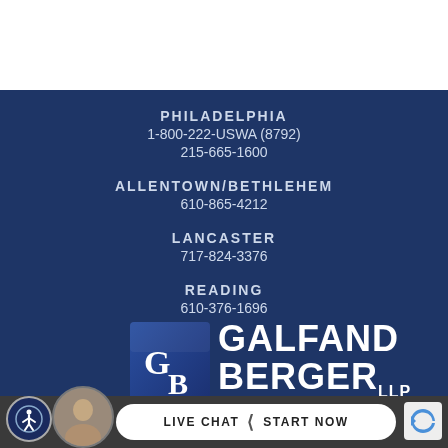PHILADELPHIA
1-800-222-USWA (8792)
215-665-1600
ALLENTOWN/BETHLEHEM
610-865-4212
LANCASTER
717-824-3376
READING
610-376-1696
[Figure (logo): Galfand Berger LLP logo with GB monogram and firm name]
LIVE CHAT | START NOW